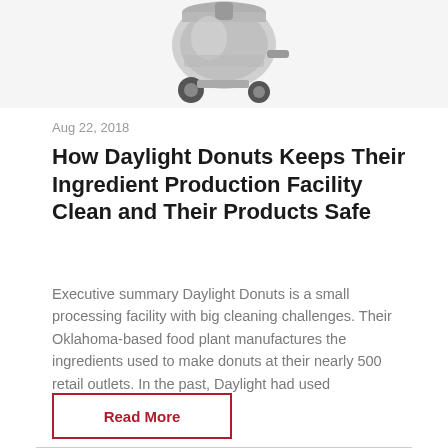[Figure (photo): Partial image of a stainless steel industrial vacuum/cleaning machine on wheels, shown from roughly mid-body upward, cropped at top of page.]
Aug 22, 2018
How Daylight Donuts Keeps Their Ingredient Production Facility Clean and Their Products Safe
Executive summary Daylight Donuts is a small processing facility with big cleaning challenges. Their Oklahoma-based food plant manufactures the ingredients used to make donuts at their nearly 500 retail outlets. In the past, Daylight had used commercially available...
Read More